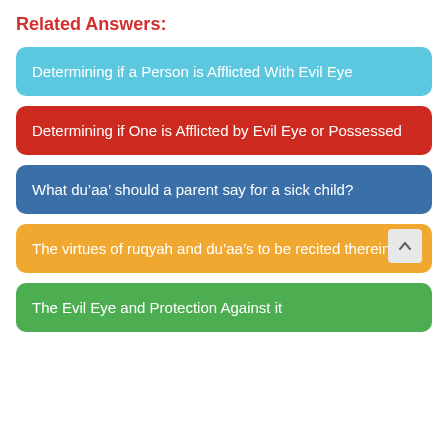Related Answers:
Determining if a Person is Afflicted With Evil Eye
Determining if One is Afflicted by Evil Eye or Possessed
What du’aa’ should a parent say for a sick child?
The virtues of ruqyah and du’aa’s to be recited therein
The Evil Eye and Protection Against it